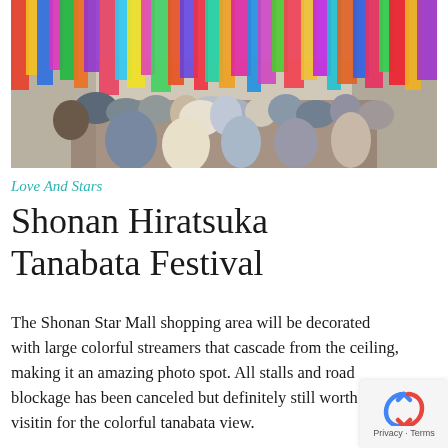[Figure (photo): A crowd of people walking through a Japanese street decorated with large colorful hanging streamers and banners for the Tanabata festival]
Love And Stars
Shonan Hiratsuka Tanabata Festival
The Shonan Star Mall shopping area will be decorated with large colorful streamers that cascade from the ceiling, making it an amazing photo spot. All stalls and road blockage has been canceled but definitely still worth visiting for the colorful tanabata view.